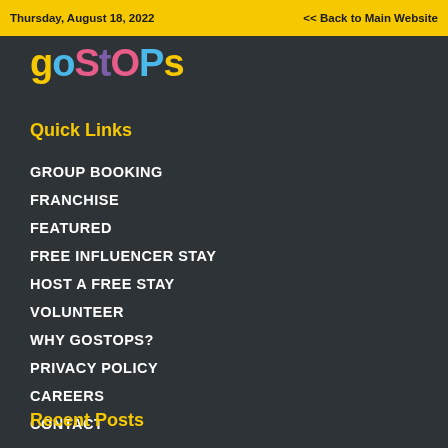Thursday, August 18, 2022  << Back to Main Website
[Figure (logo): goSTOPS logo in multicolor letters on dark background]
Quick Links
GROUP BOOKING
FRANCHISE
FEATURED
FREE INFLUENCER STAY
HOST A FREE STAY
VOLUNTEER
WHY GOSTOPS?
PRIVACY POLICY
CAREERS
CONTACT
Recent Posts